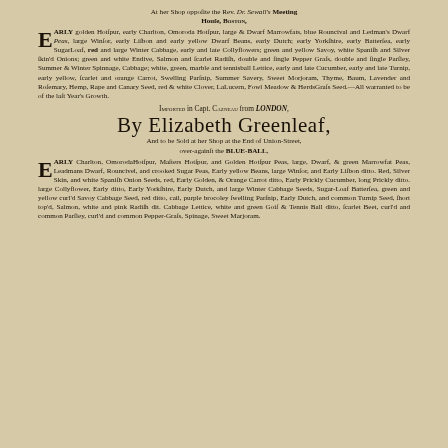At her Shop opposite the Rev. Dr. Sewall's Meeting House, Boston,
EARLY golden Hotspur, early Charlton, Omoroda Hotspur, large & Dwarf Marrowfats, blue Rouncival and Ledman's Dwarf Peas, large Winsor, early Lisbon and early yellow Dwarf Beans, early Dutch; early Yorkshire, early Battersea, early SugarLoaf, red and large Winter Cabbage, early and late Collyflowers; green and yellow Savoy, white Spanish and Silver skin'd Onions; green and white Endive, Salmon and scarlet Radish, double and single Pepper Grass, double and single Parsley, Summer & Winter Spinnage, Cabbage; white, green, marble and tennisball Lettice, early and late Cucumber, early and late Turnip, early yellow, scarlet and orange Carrot, Swelling Parsnip, Summer Savery, Sweet Morjoram, Thyme, Baum, Lavender and Rosemary, Hemp, Rape and Canary Seed, red & white Clover, LaLucern, Fowl Meadow & HerdsGrass Seed.—All warranted to be of the last Year's Growth.
IMPORTED in Capt. Cazneau from LONDON,
By Elizabeth Greenleaf,
And to be Sold at her Shop at the End of Union-Street, over-against the BLUE-BALL,
EARLY Charlton, OmorodaHotspur, Masters Hotspur, and Golden Hotspur Peas, large, Dwarf, & green Marrowfat Peas, Leadmans Dwarf, Rouncivel, and crooked Sugar Peas, Early yellow Beans, large Winsor, and Early Lisbon ditto. Red, Silver Skin, and white Spanish Onion Seeds, red, Early Golden, & Orange Carrot ditto, Early Prickly Cucumber, long Prickly ditto. large Collyflower, Early ditto, Early Yorkshire, Early Dutch, and large Winter Cabbage Seeds, Sugar-Loaf Battersea, green and yellow curl'd Savoy Cabbage Seed, red ditto, cail, purple brocoley swelling Parsnip, Early Dutch, and common Turnip Seed, short top'd, Salmon, white and pink Radish dit. Cabbage Lettice, white and green Gois & Tennis Ball ditto, scarlet Beet, curl'd and common Parsley, curl'd and common Pepper-Grass, Spinage, Sweet Marjoram.